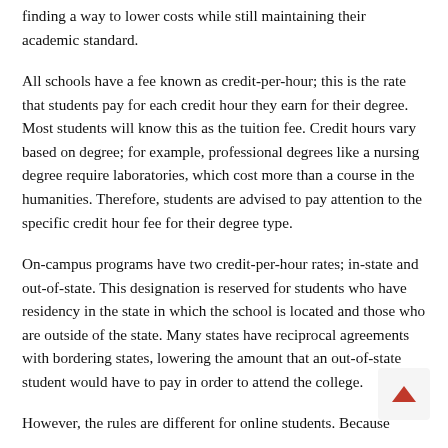finding a way to lower costs while still maintaining their academic standard.
All schools have a fee known as credit-per-hour; this is the rate that students pay for each credit hour they earn for their degree. Most students will know this as the tuition fee. Credit hours vary based on degree; for example, professional degrees like a nursing degree require laboratories, which cost more than a course in the humanities. Therefore, students are advised to pay attention to the specific credit hour fee for their degree type.
On-campus programs have two credit-per-hour rates; in-state and out-of-state. This designation is reserved for students who have residency in the state in which the school is located and those who are outside of the state. Many states have reciprocal agreements with bordering states, lowering the amount that an out-of-state student would have to pay in order to attend the college.
However, the rules are different for online students. Because